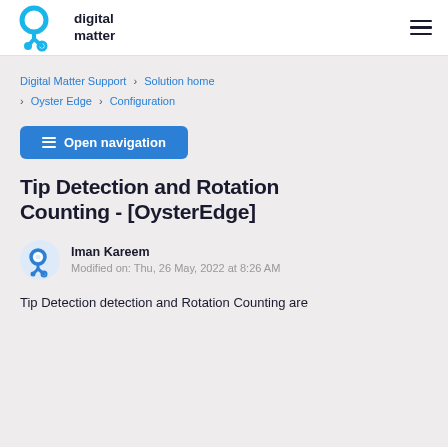[Figure (logo): Digital Matter logo — blue circular icon with two nodes connected, beside bold text 'digital matter']
Digital Matter Support › Solution home › Oyster Edge › Configuration
≡ Open navigation
Tip Detection and Rotation Counting - [OysterEdge]
Iman Kareem
Modified on: Thu, 26 May, 2022 at 8:26 AM
Tip Detection detection and Rotation Counting are